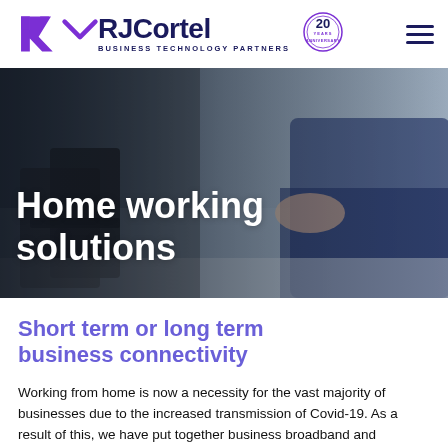RJCortel BUSINESS TECHNOLOGY PARTNERS
[Figure (photo): Person in business attire reaching towards a desk phone in a blurred office setting, with text overlay 'Home working solutions']
Home working solutions
Short term or long term business connectivity
Working from home is now a necessity for the vast majority of businesses due to the increased transmission of Covid-19. As a result of this, we have put together business broadband and